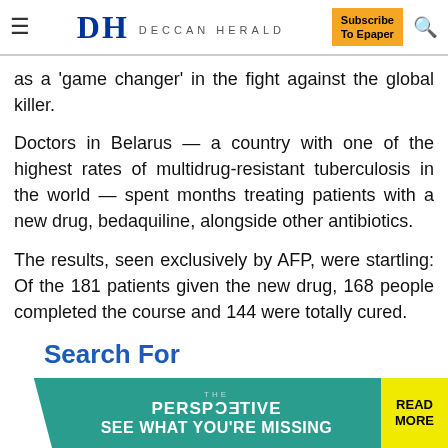DH DECCAN HERALD | Subscribe To Epaper
as a 'game changer' in the fight against the global killer.
Doctors in Belarus — a country with one of the highest rates of multidrug-resistant tuberculosis in the world — spent months treating patients with a new drug, bedaquiline, alongside other antibiotics.
The results, seen exclusively by AFP, were startling: Of the 181 patients given the new drug, 168 people completed the course and 144 were totally cured.
Search For
Loans for Churches
Psychic Tarot Readers
[Figure (screenshot): THE PERSPECTIVE advertisement banner: SEE WHAT YOU'RE MISSING | READ MORE]